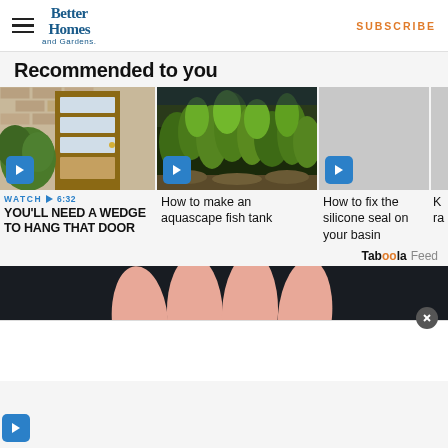Better Homes and Gardens — SUBSCRIBE
Recommended to you
[Figure (screenshot): Video thumbnail: front door with frosted glass panels on brick wall]
WATCH ▶ 6:32
YOU'LL NEED A WEDGE TO HANG THAT DOOR
[Figure (photo): Video thumbnail: aquascape fish tank with green plants]
How to make an aquascape fish tank
[Figure (photo): Video thumbnail: grey placeholder for basin silicone seal]
How to fix the silicone seal on your basin
K
ra
[Figure (photo): Close-up photo of fingers holding pink sugary gummy candies on dark background]
Taboola Feed